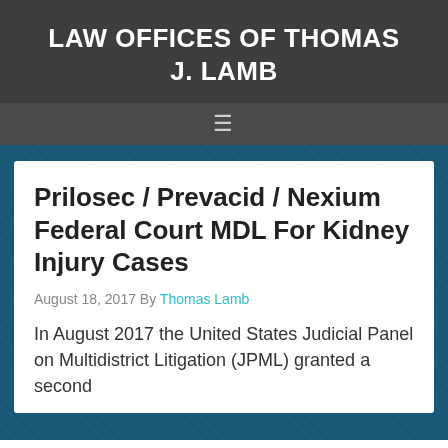LAW OFFICES OF THOMAS J. LAMB
Prilosec / Prevacid / Nexium Federal Court MDL For Kidney Injury Cases
August 18, 2017 By Thomas Lamb
In August 2017 the United States Judicial Panel on Multidistrict Litigation (JPML) granted a second